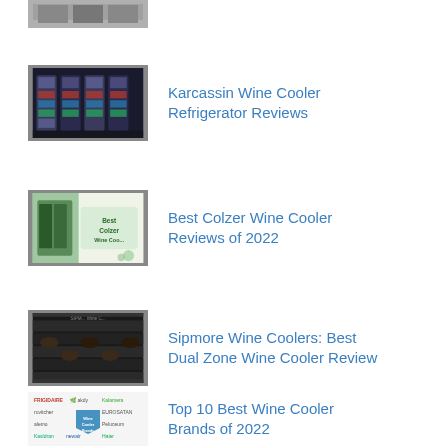[Figure (photo): Partial thumbnail of a wine cooler review image at top of page]
[Figure (photo): Thumbnail image showing multiple Karcassin wine cooler refrigerators in a dark setting]
Karcassin Wine Cooler Refrigerator Reviews
[Figure (photo): Thumbnail showing Best Colzer Wine Cooler promotional image with person and cooler]
Best Colzer Wine Cooler Reviews of 2022
[Figure (photo): Thumbnail showing Sipmore Wine Cooler with wine bottles in dark dual zone cooler]
Sipmore Wine Coolers: Best Dual Zone Wine Cooler Review
[Figure (photo): Thumbnail showing collage of Top 10 Best Wine Cooler Brands logos including Frigidaire, akdy, Kalamera, Wine Cooler Brands badge, newair, Haier]
Top 10 Best Wine Cooler Brands of 2022